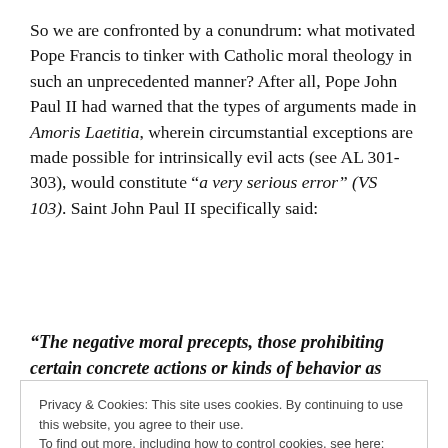So we are confronted by a conundrum: what motivated Pope Francis to tinker with Catholic moral theology in such an unprecedented manner? After all, Pope John Paul II had warned that the types of arguments made in Amoris Laetitia, wherein circumstantial exceptions are made possible for intrinsically evil acts (see AL 301-303), would constitute “a very serious error” (VS 103). Saint John Paul II specifically said:
“The negative moral precepts, those prohibiting certain concrete actions or kinds of behavior as
Privacy & Cookies: This site uses cookies. By continuing to use this website, you agree to their use.
To find out more, including how to control cookies, see here: Cookie Policy
“The negative precepts of the natural law are